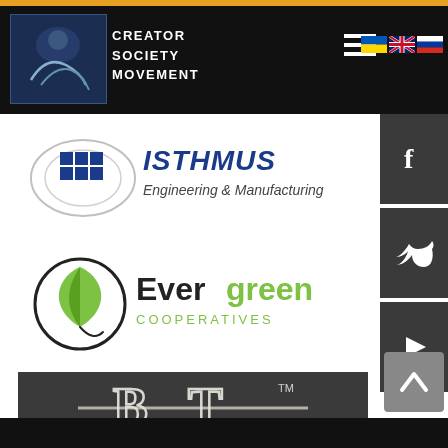[Figure (logo): Creator Society Movement website header with black navigation bar, gold top stripe, CSM logo on left, hamburger menu icon, and flag icons (Ukraine, UK, Russia)]
[Figure (logo): Isthmus Engineering & Manufacturing company logo with blue block letters and circular design]
[Figure (logo): Evergreen Cooperatives logo with green leaf inside circular design and green/black text]
[Figure (logo): BT monogram logo with chalk-style white letters on dark charcoal background with TM mark]